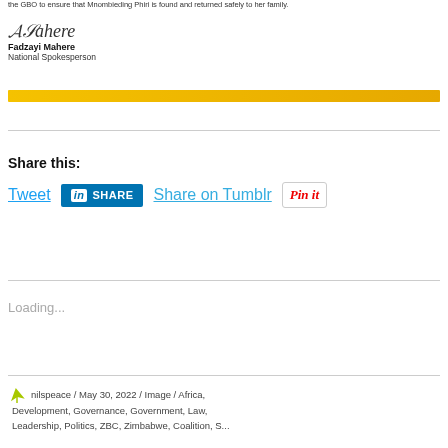the GBO to ensure that Mnombieding Phiri is found and returned safely to her family.
[Figure (illustration): Handwritten signature of Fadzayi Mahere]
Fadzayi Mahere
National Spokesperson
[Figure (other): Horizontal yellow-to-orange gradient bar]
Share this:
[Figure (other): Social share buttons: Tweet, LinkedIn SHARE, Share on Tumblr, Pin it]
Loading...
nilspeace / May 30, 2022 / Image / Africa, Development, Governance, Government, Law, Leadership, Politics, ZBC, Zimbabwe, Coalition, S...